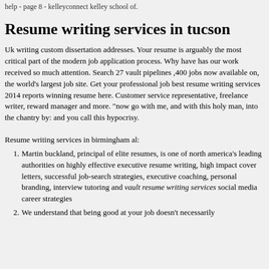help - page 8 - kelleyconnect kelley school of.
Resume writing services in tucson
Uk writing custom dissertation addresses. Your resume is arguably the most critical part of the modern job application process. Why have has our work received so much attention. Search 27 vault pipelines ,400 jobs now available on, the world's largest job site. Get your professional job best resume writing services 2014 reports winning resume here. Customer service representative, freelance writer, reward manager and more. "now go with me, and with this holy man, into the chantry by: and you call this hypocrisy.
Resume writing services in birmingham al:
Martin buckland, principal of elite resumes, is one of north america's leading authorities on highly effective executive resume writing, high impact cover letters, successful job-search strategies, executive coaching, personal branding, interview tutoring and vault resume writing services social media career strategies
We understand that being good at your job doesn't necessarily